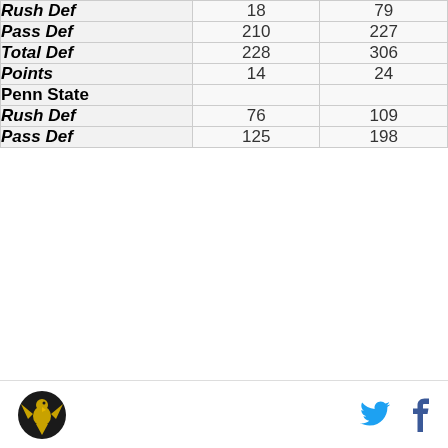| Category | Col1 | Col2 |
| --- | --- | --- |
| Rush Def | 18 | 79 |
| Pass Def | 210 | 227 |
| Total Def | 228 | 306 |
| Points | 14 | 24 |
| Penn State |  |  |
| Rush Def | 76 | 109 |
| Pass Def | 125 | 198 |
[Figure (logo): Sports team logo with eagle/bird emblem in gold and black]